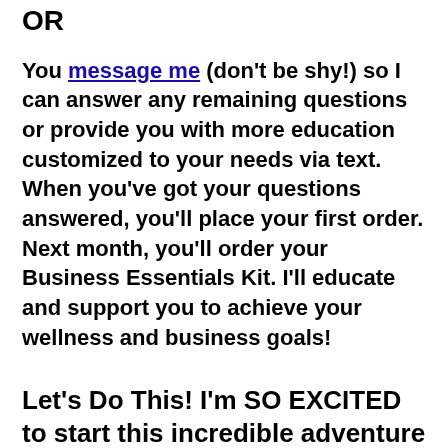OR
You message me (don't be shy!) so I can answer any remaining questions or provide you with more education customized to your needs via text. When you've got your questions answered, you'll place your first order. Next month, you'll order your Business Essentials Kit. I'll educate and support you to achieve your wellness and business goals!
Let's Do This! I'm SO EXCITED to start this incredible adventure with you!